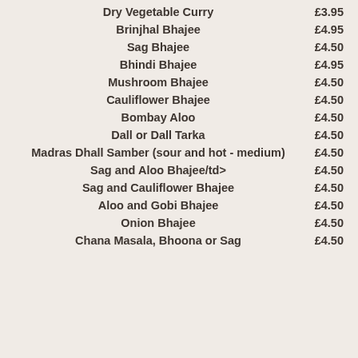Dry Vegetable Curry £3.95
Brinjhal Bhajee £4.95
Sag Bhajee £4.50
Bhindi Bhajee £4.95
Mushroom Bhajee £4.50
Cauliflower Bhajee £4.50
Bombay Aloo £4.50
Dall or Dall Tarka £4.50
Madras Dhall Samber (sour and hot - medium) £4.50
Sag and Aloo Bhajee/td> £4.50
Sag and Cauliflower Bhajee £4.50
Aloo and Gobi Bhajee £4.50
Onion Bhajee £4.50
Chana Masala, Bhoona or Sag £4.50